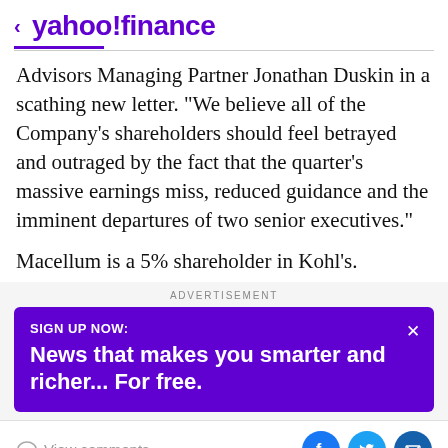< yahoo!finance
Advisors Managing Partner Jonathan Duskin in a scathing new letter. "We believe all of the Company's shareholders should feel betrayed and outraged by the fact that the quarter's massive earnings miss, reduced guidance and the imminent departures of two senior executives."
Macellum is a 5% shareholder in Kohl's.
ADVERTISEMENT
[Figure (infographic): Purple advertisement banner: SIGN UP NOW: News that makes you smarter and richer... For free.]
View comments